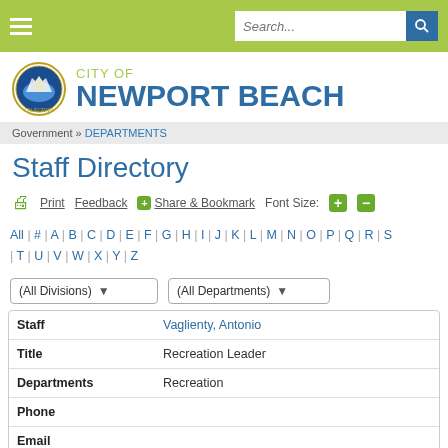City of Newport Beach - Staff Directory
Government » DEPARTMENTS
Staff Directory
Print   Feedback   Share & Bookmark   Font Size: + -
All | # | A | B | C | D | E | F | G | H | I | J | K | L | M | N | O | P | Q | R | S | T | U | V | W | X | Y | Z
| Field | Value |
| --- | --- |
| Staff | Vaglienty, Antonio |
| Title | Recreation Leader |
| Departments | Recreation |
| Phone |  |
| Email |  |
| Staff | Valdez, Racquel |